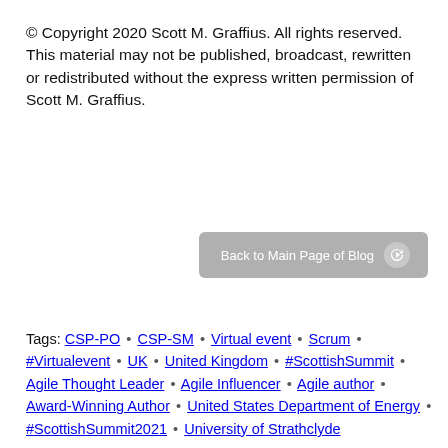© Copyright 2020 Scott M. Graffius. All rights reserved. This material may not be published, broadcast, rewritten or redistributed without the express written permission of Scott M. Graffius.
[Figure (other): A grey rounded button labeled 'Back to Main Page of Blog' with a circular arrow icon on the right]
Tags: CSP-PO • CSP-SM • Virtual event • Scrum • #Virtualevent • UK • United Kingdom • #ScottishSummit • Agile Thought Leader • Agile Influencer • Agile author • Award-Winning Author • United States Department of Energy • #ScottishSummit2021 • University of Strathclyde Technology and Innovation Centre, Virtual Training...